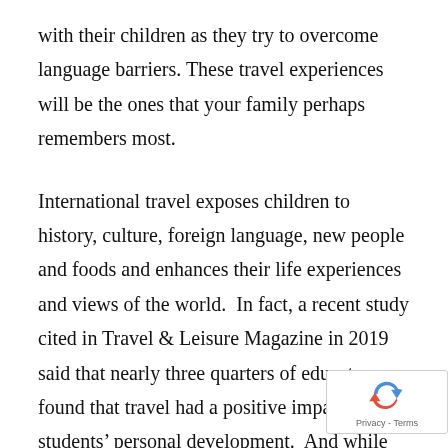with their children as they try to overcome language barriers. These travel experiences will be the ones that your family perhaps remembers most.
International travel exposes children to history, culture, foreign language, new people and foods and enhances their life experiences and views of the world.  In fact, a recent study cited in Travel & Leisure Magazine in 2019 said that nearly three quarters of educators found that travel had a positive impact on students' personal development.  And while domestic travel and even travel in your own backyard can be equally impactful, Travel & Leisure noted that teachers agreed international travel helped to increase tolerance and respectfulness as well as